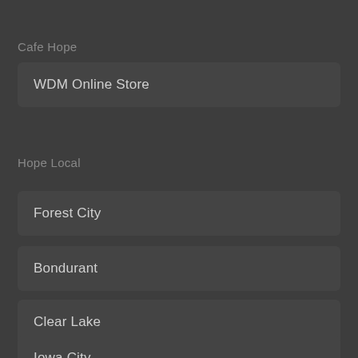Cafe Hope
WDM Online Store
Hope Local
Forest City
Bondurant
Clear Lake
Iowa City